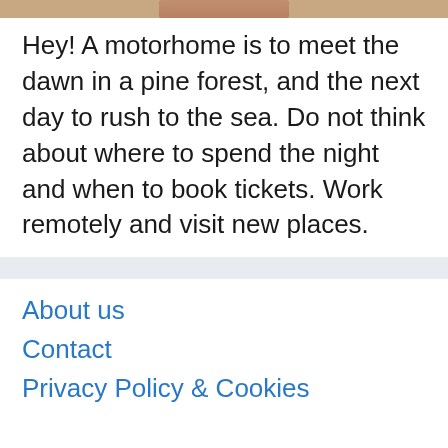[Figure (photo): Partial image of a person visible at the top of the page]
Hey! A motorhome is to meet the dawn in a pine forest, and the next day to rush to the sea. Do not think about where to spend the night and when to book tickets. Work remotely and visit new places.
About us
Contact
Privacy Policy & Cookies
ATTENTION TO RIGHT HOLDERS! All materials are posted on the site strictly for informational and educational purposes! If you believe that the posting of any material infringes your copyright, be sure to contact